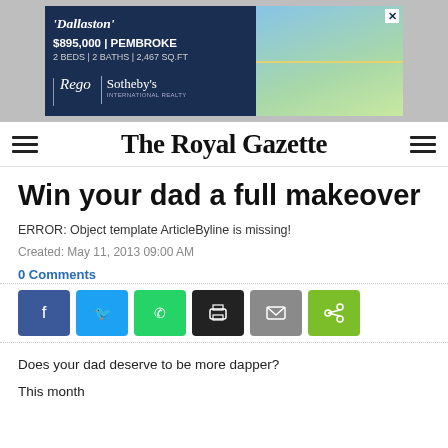[Figure (other): Advertisement banner for 'Dallaston' property at $895,000 in Pembroke, 2 beds, 2 baths, 2,467 sq.ft., Rego Sotheby's International Realty, with photo of a blue house]
The Royal Gazette
Win your dad a full makeover
ERROR: Object template ArticleByline is missing!
Created: May 11, 2013 09:00 AM
0 Comments
[Figure (other): Social share buttons: Facebook, Twitter, WhatsApp, Print, Email, Share]
Does your dad deserve to be more dapper?
This month